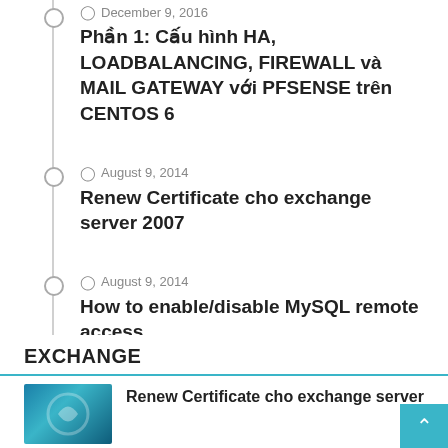December 9, 2016 — Phần 1: Cấu hình HA, LOADBALANCING, FIREWALL và MAIL GATEWAY với PFSENSE trên CENTOS 6
August 9, 2014 — Renew Certificate cho exchange server 2007
August 9, 2014 — How to enable/disable MySQL remote access
August 4, 2014 — Chèn like facebook, google cho vào bên cạnh cho vbb 4.x
EXCHANGE
Renew Certificate cho exchange server